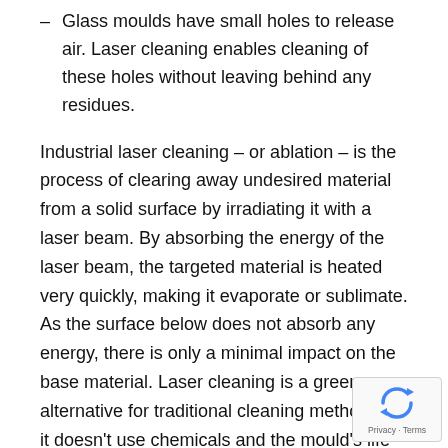Glass moulds have small holes to release air. Laser cleaning enables cleaning of these holes without leaving behind any residues.
Industrial laser cleaning – or ablation – is the process of clearing away undesired material from a solid surface by irradiating it with a laser beam. By absorbing the energy of the laser beam, the targeted material is heated very quickly, making it evaporate or sublimate. As the surface below does not absorb any energy, there is only a minimal impact on the base material. Laser cleaning is a green alternative for traditional cleaning methods, as it doesn't use chemicals and the mould's life span is substantially increased.
3-D mould scanner
The AiMC-1000 uses state of the art 3-D scanning technology with patented software algorithms that have been